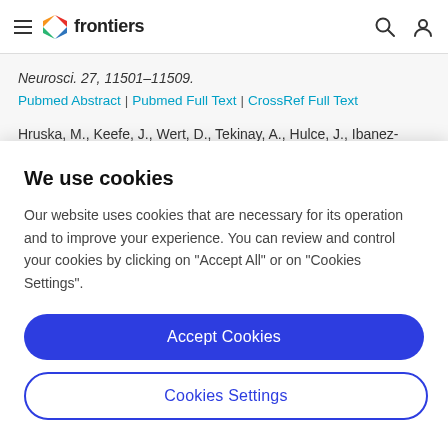frontiers
Neurosci. 27, 11501–11509.
Pubmed Abstract | Pubmed Full Text | CrossRef Full Text
Hruska, M., Keefe, J., Wert, D., Tekinay, A., Hulce, J., Ibanez-Tallon, I., and Nishi, R. (2009). Prostate stem cell antigen is an endogenous lynx1-like prototoxin that
We use cookies
Our website uses cookies that are necessary for its operation and to improve your experience. You can review and control your cookies by clicking on "Accept All" or on "Cookies Settings".
Accept Cookies
Cookies Settings